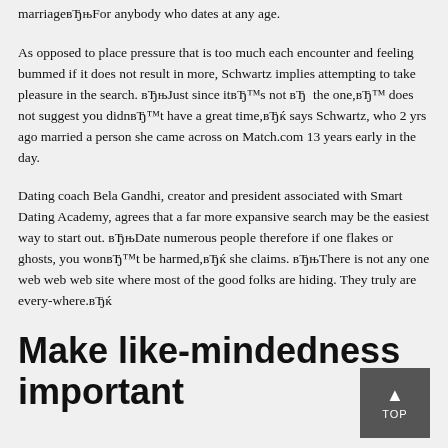marriageвЂњFor anybody who dates at any age.
As opposed to place pressure that is too much each encounter and feeling bummed if it does not result in more, Schwartz implies attempting to take pleasure in the search. вЂњJust since itвЂ™s not вЂ the one,вЂ™ does not suggest you didnвЂ™t have a great time,вЂќ says Schwartz, who 2 yrs ago married a person she came across on Match.com 13 years early in the day.
Dating coach Bela Gandhi, creator and president associated with Smart Dating Academy, agrees that a far more expansive search may be the easiest way to start out. вЂњDate numerous people therefore if one flakes or ghosts, you wonвЂ™t be harmed,вЂќ she claims. вЂњThere is not any one web web web site where most of the good folks are hiding. They truly are every-where.вЂќ
Make like-mindedness important